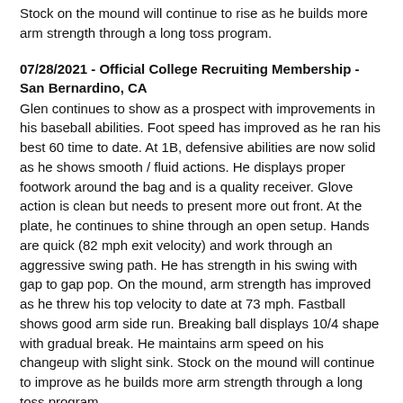Stock on the mound will continue to rise as he builds more arm strength through a long toss program.
07/28/2021 - Official College Recruiting Membership - San Bernardino, CA
Glen continues to show as a prospect with improvements in his baseball abilities. Foot speed has improved as he ran his best 60 time to date. At 1B, defensive abilities are now solid as he shows smooth / fluid actions. He displays proper footwork around the bag and is a quality receiver. Glove action is clean but needs to present more out front. At the plate, he continues to shine through an open setup. Hands are quick (82 mph exit velocity) and work through an aggressive swing path. He has strength in his swing with gap to gap pop. On the mound, arm strength has improved as he threw his top velocity to date at 73 mph. Fastball shows good arm side run. Breaking ball displays 10/4 shape with gradual break. He maintains arm speed on his changeup with slight sink. Stock on the mound will continue to improve as he builds more arm strength through a long toss program.
07/21/2021 - Baseball Factory Southwest Championships 16U
Glen continued to shine with baseball abilities at the Southwest